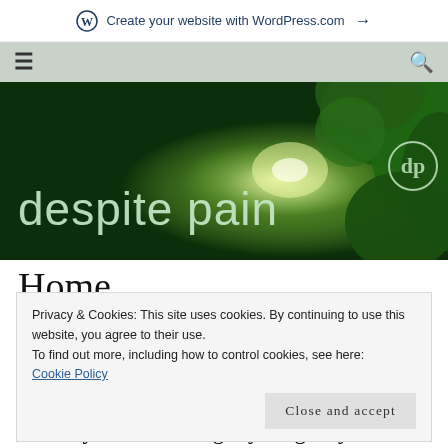Create your website with WordPress.com →
[Figure (screenshot): WordPress blog header showing navigation bar with hamburger menu and search icon, on a grey-green background]
[Figure (photo): Dark green forest night scene with glowing light, used as hero banner background for 'despite pain' blog]
despite pain
Home
Privacy & Cookies: This site uses cookies. By continuing to use this website, you agree to their use.
To find out more, including how to control cookies, see here:
Cookie Policy
Thank you for visiting my blog. My name is